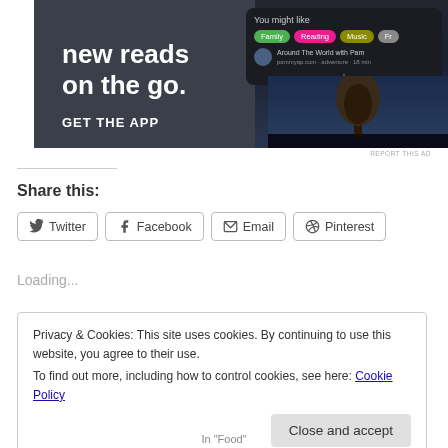[Figure (screenshot): App advertisement banner with dark background showing 'new reads on the go. GET THE APP' text and a phone UI with 'You might like' recommendations panel and a tree silhouette image]
REPORT THIS AD
Share this:
Twitter  Facebook  Email  Pinterest
Loading...
Privacy & Cookies: This site uses cookies. By continuing to use this website, you agree to their use.
To find out more, including how to control cookies, see here: Cookie Policy
Close and accept
In "Food"